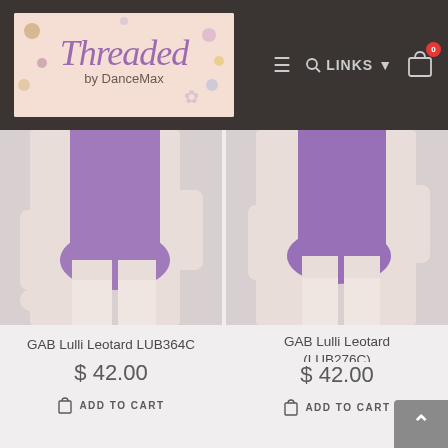[Figure (logo): Threaded by DanceMax logo on pink background with decorative dots]
[Figure (screenshot): Navigation bar with hamburger menu, search icon, LINKS dropdown, and shopping cart with 0 badge]
[Figure (photo): GAB Lulli Leotard LUB364C - purple leotard on model, cropped to torso]
[Figure (photo): GAB Lulli Leotard LUB276C - purple leotard on model, cropped to torso]
GAB Lulli Leotard LUB364C
$ 42.00
ADD TO CART
GAB Lulli Leotard (LUB276C)
$ 42.00
ADD TO CART